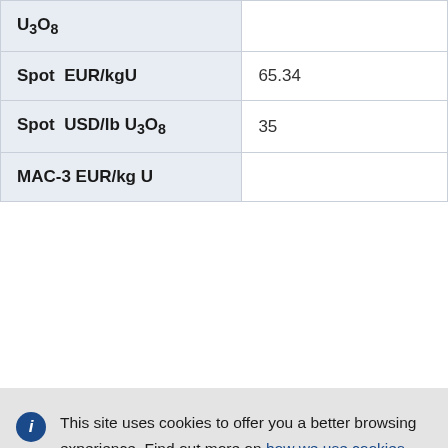| U₃O₈ |  |
| Spot  EUR/kgU | 65.34 |
| Spot  USD/lb U₃O₈ | 35 |
| MAC-3 EUR/kg U |  |
This site uses cookies to offer you a better browsing experience. Find out more on how we use cookies.